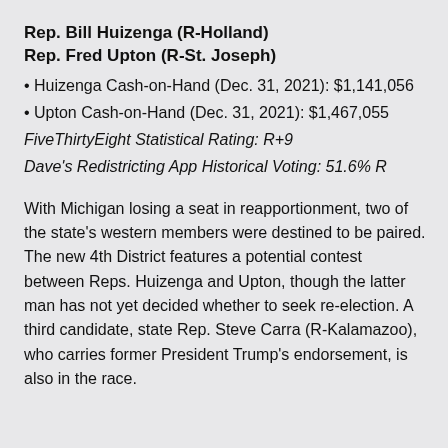Rep. Bill Huizenga (R-Holland)
Rep. Fred Upton (R-St. Joseph)
• Huizenga Cash-on-Hand (Dec. 31, 2021): $1,141,056
• Upton Cash-on-Hand (Dec. 31, 2021): $1,467,055
FiveThirtyEight Statistical Rating: R+9
Dave's Redistricting App Historical Voting: 51.6% R
With Michigan losing a seat in reapportionment, two of the state's western members were destined to be paired. The new 4th District features a potential contest between Reps. Huizenga and Upton, though the latter man has not yet decided whether to seek re-election. A third candidate, state Rep. Steve Carra (R-Kalamazoo), who carries former President Trump's endorsement, is also in the race.